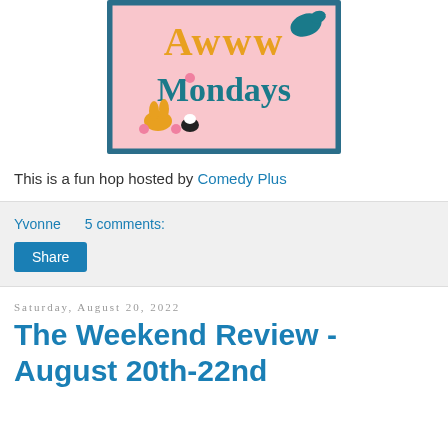[Figure (illustration): Awww Mondays logo: pink background with teal border, orange 'Awww' text and teal 'Mondays' text with cartoon animals (rabbit, cat, dog)]
This is a fun hop hosted by Comedy Plus
Yvonne    5 comments:
Share
Saturday, August 20, 2022
The Weekend Review - August 20th-22nd